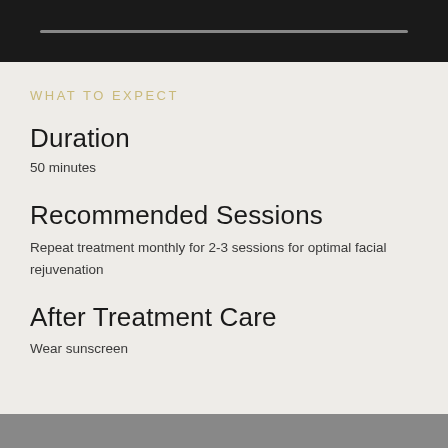[Figure (other): Dark top banner with horizontal grey progress bar]
WHAT TO EXPECT
Duration
50 minutes
Recommended Sessions
Repeat treatment monthly for 2-3 sessions for optimal facial rejuvenation
After Treatment Care
Wear sunscreen